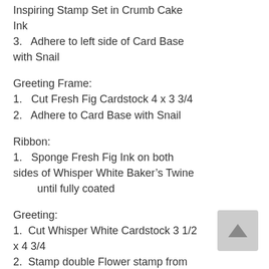Inspiring Stamp Set in Crumb Cake Ink
3.   Adhere to left side of Card Base with Snail
Greeting Frame:
1.   Cut Fresh Fig Cardstock 4 x 3 3/4
2.   Adhere to Card Base with Snail
Ribbon:
1.   Sponge Fresh Fig Ink on both sides of Whisper White Baker’s Twine until fully coated
Greeting:
1.  Cut Whisper White Cardstock 3 1/2 x 4 3/4
2.  Stamp double Flower stamp from You’re Inspiring Stamp Set